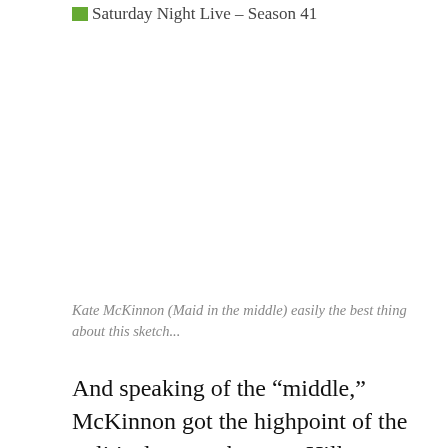[Figure (photo): Photo placeholder for Saturday Night Live - Season 41, image not loaded]
Kate McKinnon (Maid in the middle) easily the best thing about this sketch...
And speaking of the “middle,” McKinnon got the highpoint of the political open where, as Hillary Clinton, she did the “stuck in the middle with you” gag. A close